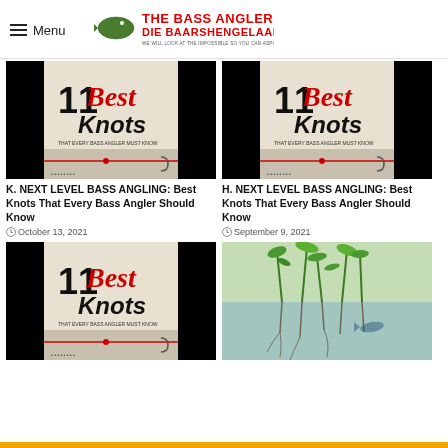Menu | THE BASS ANGLER DIE BAARSHENGELAAR
[Figure (photo): 11 Best Knots that every bass angler must know - book/article cover image (left top)]
[Figure (photo): 11 Best Knots that every bass angler must know - book/article cover image (right top)]
K. NEXT LEVEL BASS ANGLING: Best Knots That Every Bass Angler Should Know
October 13, 2021
H. NEXT LEVEL BASS ANGLING: Best Knots That Every Bass Angler Should Know
September 9, 2021
[Figure (photo): 11 Best Knots that every bass angler must know - book/article cover image (left bottom)]
[Figure (photo): Aquatic plants growing above and below water surface (right bottom)]